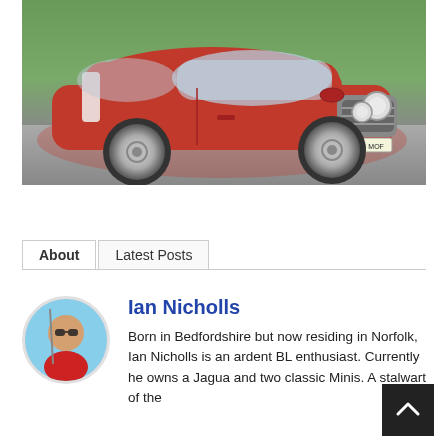[Figure (photo): A classic red Mini Cooper car photographed from a front-side angle on a road, with license plate HG06 MOF]
About   Latest Posts
Ian Nicholls
[Figure (photo): Circular avatar photo of Ian Nicholls, a man in a red shirt holding what appears to be a pole, outdoors with blue sky]
Born in Bedfordshire but now residing in Norfolk, Ian Nicholls is an ardent BL enthusiast. Currently he owns a Jagua and two classic Minis. A stalwart of the